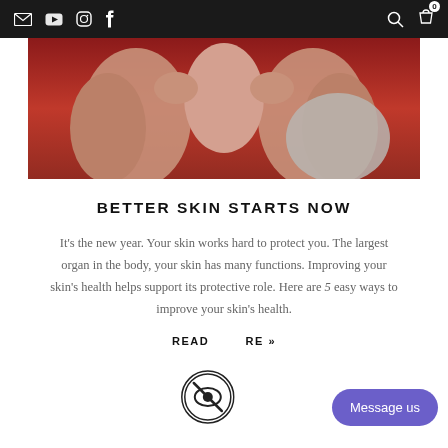Navigation bar with email, YouTube, Instagram, Facebook icons on left; search and cart (0) icons on right
[Figure (photo): Woman with dark hair touching her neck/collarbone area, red background]
BETTER SKIN STARTS NOW
It's the new year. Your skin works hard to protect you. The largest organ in the body, your skin has many functions. Improving your skin's health helps support its protective role. Here are 5 easy ways to improve your skin's health.
READ MORE »
[Figure (logo): Privacy/eye-slash circular icon]
Message us